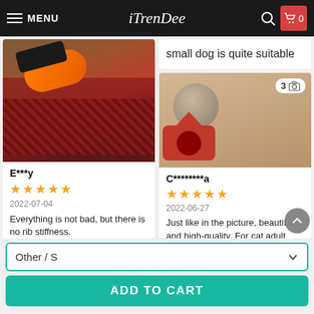MENU | iTrenDee | Search | Cart 0
small dog is quite suitable
[Figure (photo): Orange and black dog carrier bag on patterned rug]
E***y
★★★★★
2022-07-04
Everything is not bad, but there is no rib stiffness.
[Figure (photo): Red small pet house next to a round object on a floor, with photo count badge showing 3]
C********a
★★★★★
2022-06-27
Just like in the picture, beautiful and high-quality. For cat adult size
Other / S
ADD TO CART